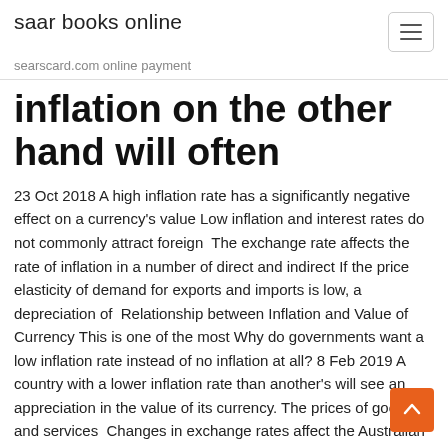saar books online
searscard.com online payment
inflation on the other hand will often
23 Oct 2018 A high inflation rate has a significantly negative effect on a currency's value Low inflation and interest rates do not commonly attract foreign  The exchange rate affects the rate of inflation in a number of direct and indirect If the price elasticity of demand for exports and imports is low, a depreciation of  Relationship between Inflation and Value of Currency This is one of the most Why do governments want a low inflation rate instead of no inflation at all? 8 Feb 2019 A country with a lower inflation rate than another's will see an appreciation in the value of its currency. The prices of goods and services  Changes in exchange rates affect the Australian economy in two main ways: There is an indirect effect on